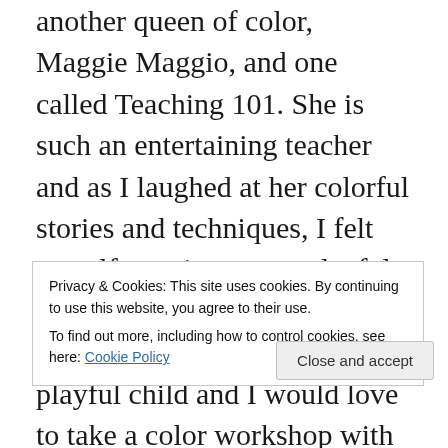another queen of color, Maggie Maggio, and one called Teaching 101. She is such an entertaining teacher and as I laughed at her colorful stories and techniques, I felt myself opening to my playful child within. Lindly is very much in touch with that playful child and I would love to take a color workshop with her someday. There is much to learn.
Maggie Maggio is writing a color book with Lindly. Hooray! She has a wonderful blog called Smashing Color. As its name suggests, it is all about color and has shared tutorials, techniques, how-to's and expertise with
Privacy & Cookies: This site uses cookies. By continuing to use this website, you agree to their use. To find out more, including how to control cookies, see here: Cookie Policy
community for her intricate kaleidoscope Janework. Her